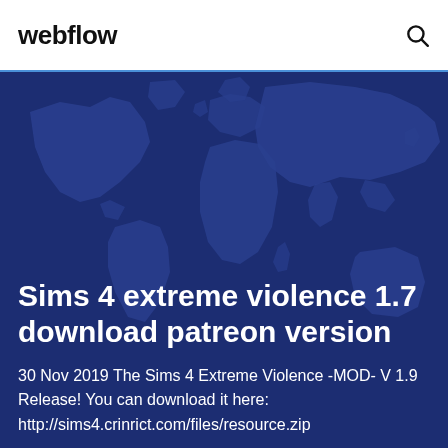webflow
[Figure (illustration): Dark blue world map background illustration used as hero image background]
Sims 4 extreme violence 1.7 download patreon version
30 Nov 2019 The Sims 4 Extreme Violence -MOD- V 1.9 Release! You can download it here: http://sims4.crinrict.com/files/resource.zip